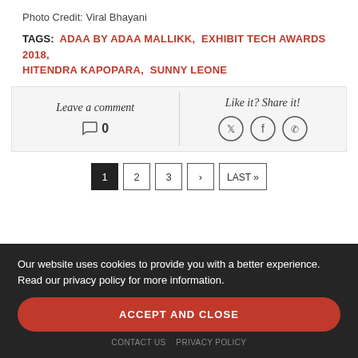Photo Credit: Viral Bhayani
TAGS: ADAA BY ADAA MALLIKK, EXHIBIT TECH AWARDS 2018, HITENDRA KAPOPARA, SUNNY LEONE
Leave a comment  0   |   Like it? Share it!
1  2  3  >  LAST »
Our website uses cookies to provide you with a better experience. Read our privacy policy for more information.
ACCEPT AND CLOSE
CONTACT US   PRIVACY POLICY